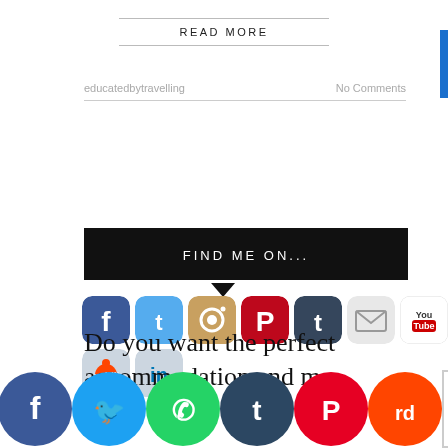READ MORE
educatedbytravelling
No Comments
FIND ME ON...
[Figure (illustration): Row of social media icons: Facebook, Twitter, Instagram, Pinterest, Tumblr, Email, YouTube in row 1; Reddit, LinkedIn in row 2]
Do you want the perfect accommodation and me